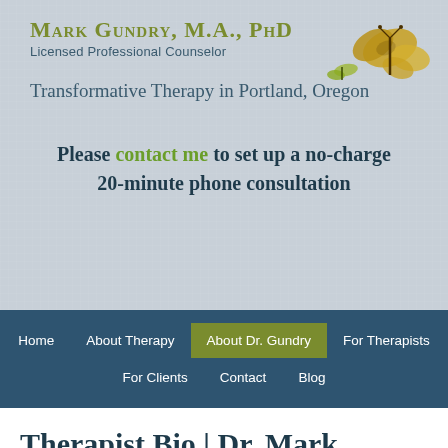[Figure (logo): Mark Gundry MA PhD logo with butterfly illustration, text: Mark Gundry, M.A., PhD, Licensed Professional Counselor, Transformative Therapy in Portland, Oregon]
Please contact me to set up a no-charge 20-minute phone consultation
[Figure (screenshot): Navigation bar with menu items: Home, About Therapy, About Dr. Gundry (active/highlighted), For Therapists, For Clients, Contact, Blog]
Therapist Bio | Dr. Mark Gundry